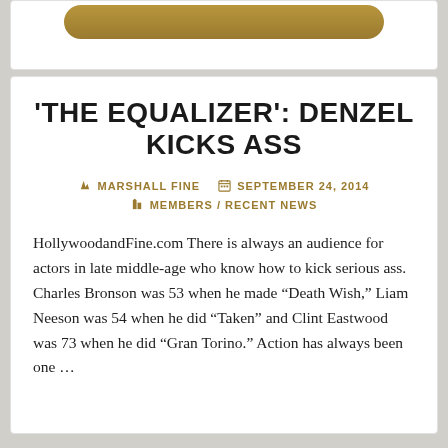[Figure (other): Decorative golden/brown rounded button or banner element at top of card]
'THE EQUALIZER': DENZEL KICKS ASS
MARSHALL FINE   SEPTEMBER 24, 2014
MEMBERS / RECENT NEWS
HollywoodandFine.com There is always an audience for actors in late middle-age who know how to kick serious ass. Charles Bronson was 53 when he made “Death Wish,” Liam Neeson was 54 when he did “Taken” and Clint Eastwood was 73 when he did “Gran Torino.” Action has always been one …